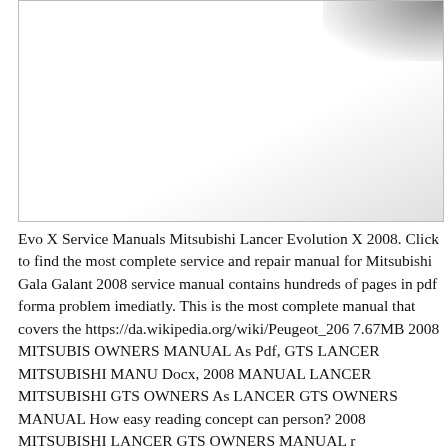[Figure (photo): A photo or image area with a dark shadow in the upper right corner, otherwise white/light background, bordered.]
Evo X Service Manuals Mitsubishi Lancer Evolution X 2008. Click to find the most complete service and repair manual for Mitsubishi Galant. Galant 2008 service manual contains hundreds of pages in pdf format to problem imediatly. This is the most complete manual that covers the https://da.wikipedia.org/wiki/Peugeot_206 7.67MB 2008 MITSUBISHI OWNERS MANUAL As Pdf, GTS LANCER MITSUBISHI MANUAL Docx, 2008 MANUAL LANCER MITSUBISHI GTS OWNERS As LANCER GTS OWNERS MANUAL How easy reading concept can person? 2008 MITSUBISHI LANCER GTS OWNERS MANUAL r...